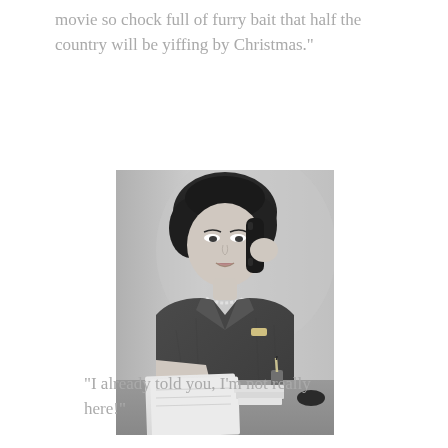movie so chock full of furry bait that half the country will be yiffing by Christmas."
[Figure (photo): Black and white vintage photograph of a woman sitting at a desk, talking on a telephone and writing on paper. She is wearing a tweed jacket and pearl necklace. The photo appears to be from the 1950s or 1960s.]
"I already told you, I'm not really here!"